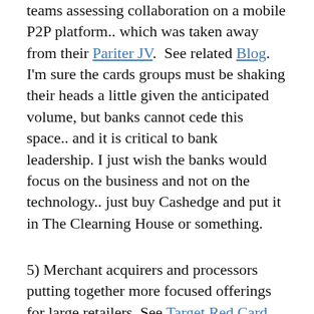teams assessing collaboration on a mobile P2P platform.. which was taken away from their Pariter JV.  See related Blog. I'm sure the cards groups must be shaking their heads a little given the anticipated volume, but banks cannot cede this space.. and it is critical to bank leadership. I just wish the banks would focus on the business and not on the technology.. just buy Cashedge and put it in The Clearning House or something.
5) Merchant acquirers and processors putting together more focused offerings for large retailers. See Target Red Card.
6) Visa and MA have M&A plans around pre-paid which are in flight, a focus more on the